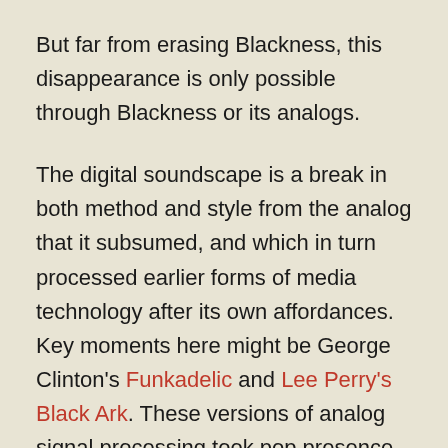But far from erasing Blackness, this disappearance is only possible through Blackness or its analogs.
The digital soundscape is a break in both method and style from the analog that it subsumed, and which in turn processed earlier forms of media technology after its own affordances. Key moments here might be George Clinton's Funkadelic and Lee Perry's Black Ark. These versions of analog signal processing took pop presence and processed it into an echo or loop. Space invades the texture of the song. Distortion becomes its own instrument. “Listening becomes a field trip through a found